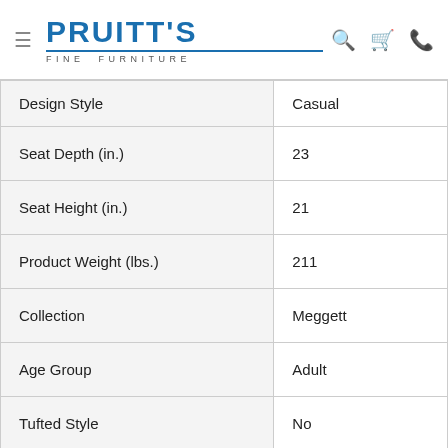Pruitt's Fine Furniture
| Attribute | Value |
| --- | --- |
| Design Style | Casual |
| Seat Depth (in.) | 23 |
| Seat Height (in.) | 21 |
| Product Weight (lbs.) | 211 |
| Collection | Meggett |
| Age Group | Adult |
| Tufted Style | No |